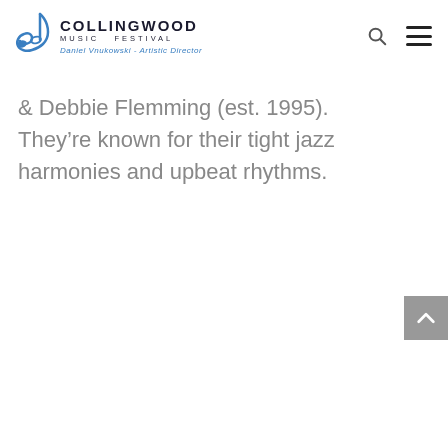Collingwood Music Festival — Daniel Vnukowski - Artistic Director
& Debbie Flemming (est. 1995). They're known for their tight jazz harmonies and upbeat rhythms.